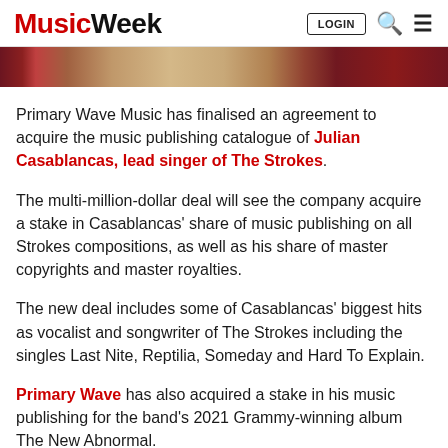Music Week — LOGIN, Search, Menu
[Figure (photo): Partial banner image showing blurred figures with dark red background]
Primary Wave Music has finalised an agreement to acquire the music publishing catalogue of Julian Casablancas, lead singer of The Strokes.
The multi-million-dollar deal will see the company acquire a stake in Casablancas' share of music publishing on all Strokes compositions, as well as his share of master copyrights and master royalties.
The new deal includes some of Casablancas' biggest hits as vocalist and songwriter of The Strokes including the singles Last Nite, Reptilia, Someday and Hard To Explain.
Primary Wave has also acquired a stake in his music publishing for the band's 2021 Grammy-winning album The New Abnormal.
Terms of the deal will also give Casablancas access to the Primary Wave…